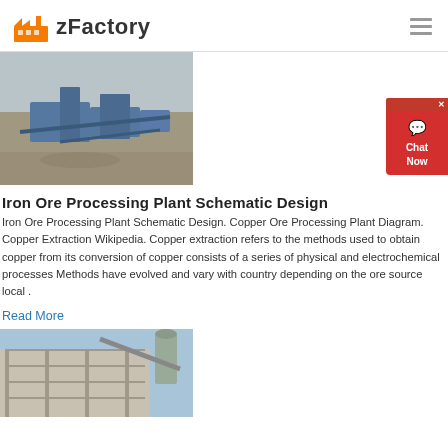zFactory
[Figure (photo): Aerial view of an iron ore processing plant or quarry with blue machinery and conveyor belts on a rocky terrain]
Iron Ore Processing Plant Schematic Design
Iron Ore Processing Plant Schematic Design. Copper Ore Processing Plant Diagram. Copper Extraction Wikipedia. Copper extraction refers to the methods used to obtain copper from its conversion of copper consists of a series of physical and electrochemical processes Methods have evolved and vary with country depending on the ore source local .
Read More
[Figure (photo): Industrial factory building exterior with metal framework, silos, and conveyor structures against a blue sky]